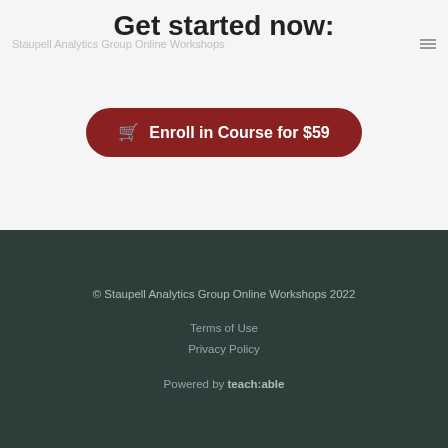Get started now:
Staupell Analytics Group Online Workshops
Enroll in Course for $59
© Staupell Analytics Group Online Workshops 2022
Terms of Use
Privacy Policy
Powered by teach:able